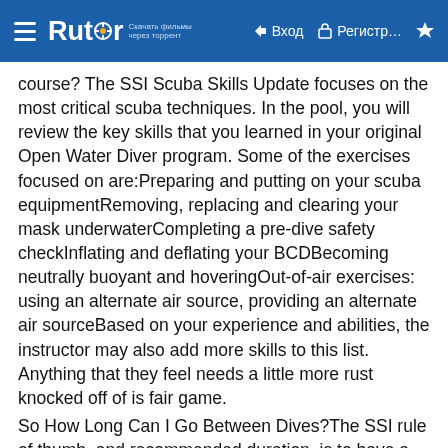Rutor — Вход — Регистр…
course? The SSI Scuba Skills Update focuses on the most critical scuba techniques. In the pool, you will review the key skills that you learned in your original Open Water Diver program. Some of the exercises focused on are:Preparing and putting on your scuba equipmentRemoving, replacing and clearing your mask underwaterCompleting a pre-dive safety checkInflating and deflating your BCDBecoming neutrally buoyant and hoveringOut-of-air exercises: using an alternate air source, providing an alternate air sourceBased on your experience and abilities, the instructor may also add more skills to this list. Anything that they feel needs a little more rust knocked off of is fair game.
So How Long Can I Go Between Dives?The SSI rule of thumb, and recommended duration, is to have a refresher after six months of inactivity. But, this is certainly not a one size fits all recommendation. It will be different for every person, depending on their dive experience. For example, a newly certified diver with four dives under his belt is likely to forget most of what they knew after six months of inactivity. In comparison, it might take a